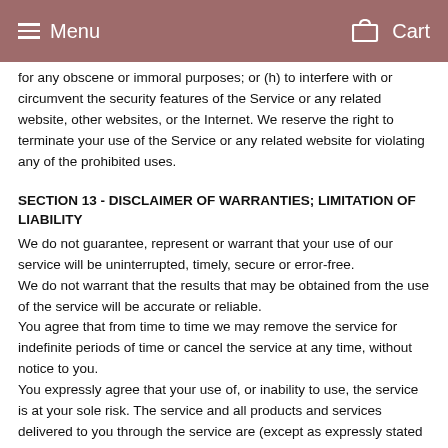Menu   Cart
for any obscene or immoral purposes; or (h) to interfere with or circumvent the security features of the Service or any related website, other websites, or the Internet. We reserve the right to terminate your use of the Service or any related website for violating any of the prohibited uses.
SECTION 13 - DISCLAIMER OF WARRANTIES; LIMITATION OF LIABILITY
We do not guarantee, represent or warrant that your use of our service will be uninterrupted, timely, secure or error-free.
We do not warrant that the results that may be obtained from the use of the service will be accurate or reliable.
You agree that from time to time we may remove the service for indefinite periods of time or cancel the service at any time, without notice to you.
You expressly agree that your use of, or inability to use, the service is at your sole risk. The service and all products and services delivered to you through the service are (except as expressly stated by us) provided 'as is' and 'as available' for your use, without any